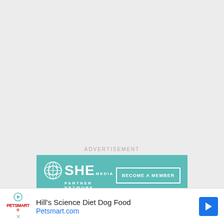ADVERTISEMENT
[Figure (illustration): SHE Media Partner Network advertisement banner with teal background. Top section shows SHE Media logo with circular network icon and 'BECOME A MEMBER' button. Middle section shows photo of smiling woman with glasses using a tablet. Bottom teal section reads 'WE HELP CONTENT CREATORS GROW BUSINESSES THROUGH...' in white bold uppercase text.]
[Figure (illustration): PetSmart advertisement bar at bottom showing 'Hill's Science Diet Dog Food' and 'Petsmart.com' with PetSmart logo, play/navigation icon, and blue navigation arrow.]